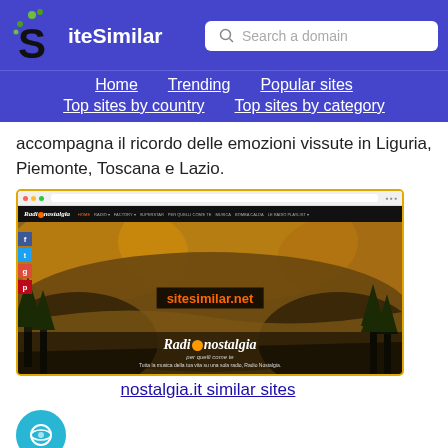[Figure (logo): SiteSimilar logo with stylized S and green dots, on purple background, with search box]
Home   Trending   Popular sites   Top sites by country   Top sites by category
accompagna il ricordo delle emozioni vissute in Liguria, Piemonte, Toscana e Lazio.
[Figure (screenshot): Screenshot of radionostalgia.it website showing Radio Nostalgia branding with autumn landscape, sitesimilar.net watermark overlay, and social sharing buttons]
nostalgia.it similar sites
[Figure (logo): Partial circular icon visible at bottom left, teal/blue colored]